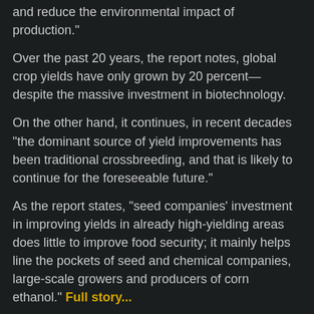and reduce the environmental impact of production."
Over the past 20 years, the report notes, global crop yields have only grown by 20 percent—despite the massive investment in biotechnology.
On the other hand, it continues, in recent decades "the dominant source of yield improvements has been traditional crossbreeding, and that is likely to continue for the foreseeable future."
As the report states, "seed companies' investment in improving yields in already high-yielding areas does little to improve food security; it mainly helps line the pockets of seed and chemical companies, large-scale growers and producers of corn ethanol." Full story...
Related posts:
Filipino farmers flatly reject GMOs being forced on them by agricultural imperialism...
Gates Foundation's seed agenda in Africa 'another